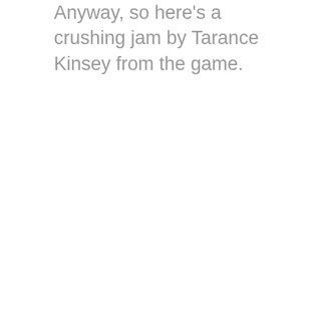Anyway, so here's a crushing jam by Tarance Kinsey from the game.